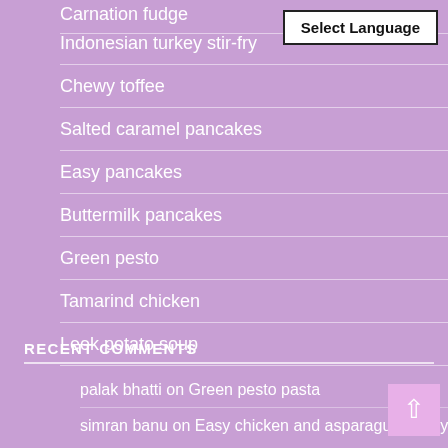Carnation fudge
Indonesian turkey stir-fry
Chewy toffee
Salted caramel pancakes
Easy pancakes
Buttermilk pancakes
Green pesto
Tamarind chicken
Leek potato soup
RECENT COMMENTS
palak bhatti on Green pesto pasta
simran banu on Easy chicken and asparagus stir-fry